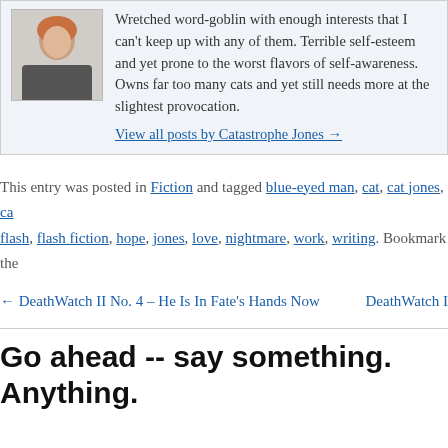[Figure (photo): Author photo of a person with reddish/blonde hair]
Wretched word-goblin with enough interests that I can't keep up with any of them. Terrible self-esteem and yet prone to the worst flavors of self-awareness. Owns far too many cats and yet still needs more at the slightest provocation.
View all posts by Catastrophe Jones →
This entry was posted in Fiction and tagged blue-eyed man, cat, cat jones, ca flash, flash fiction, hope, jones, love, nightmare, work, writing. Bookmark the
← DeathWatch II No. 4 – He Is In Fate's Hands Now    DeathWatch I
Go ahead -- say something. Anything.
This site uses Akismet to reduce spam. Learn how your comme